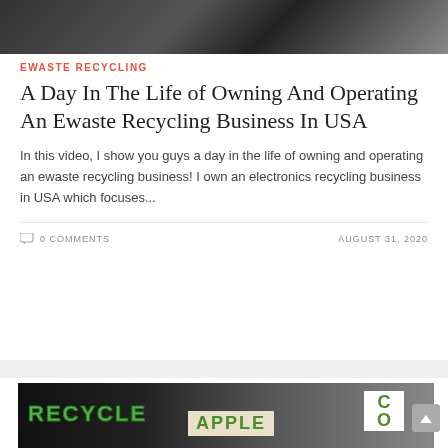[Figure (photo): Top portion of an ewaste/electronics recycling related hero image, partially cropped]
EWASTE RECYCLING
A Day In The Life of Owning And Operating An Ewaste Recycling Business In USA
In this video, I show you guys a day in the life of owning and operating an ewaste recycling business! I own an electronics recycling business in USA which focuses...
0 COMMENTS
AUGUST 31, 2020
[Figure (photo): Bottom card showing a recycling storefront image with RECYCLE text in green, APPLE sign, and CO sign on dark background]